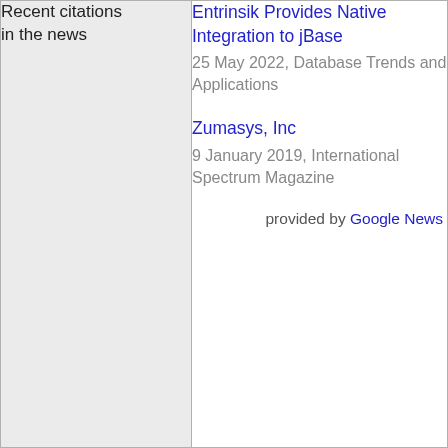Recent citations in the news
Entrinsik Provides Native Integration to jBase
25 May 2022, Database Trends and Applications

Zumasys, Inc
9 January 2019, International Spectrum Magazine

provided by Google News